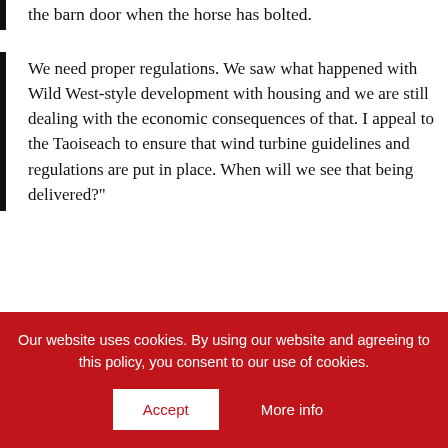the barn door when the horse has bolted.
We need proper regulations. We saw what happened with Wild West-style development with housing and we are still dealing with the economic consequences of that. I appeal to the Taoiseach to ensure that wind turbine guidelines and regulations are put in place. When will we see that being delivered?"
Our website uses cookies. By using our website and agreeing to this policy, you consent to our use of cookies.
Accept
More info